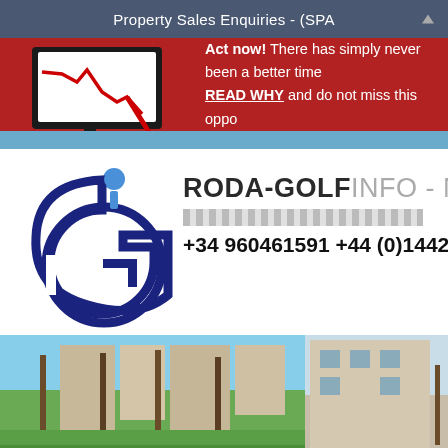Property Sales Enquiries - (SPA
[Figure (screenshot): Red promotional banner with a monitor icon showing a downward trending graph. Text reads: Act now! There has simply never been a better time... READ WHY and do not miss this oppo...]
[Figure (logo): GIP circular logo with blue letter G and I above, dark blue on white background]
RODA-GOLFINFO - New
+34 960461591 +44 (0)1442
[Figure (photo): Two photographs of residential property buildings with palm trees and landscaped gardens at Roda Golf resort]